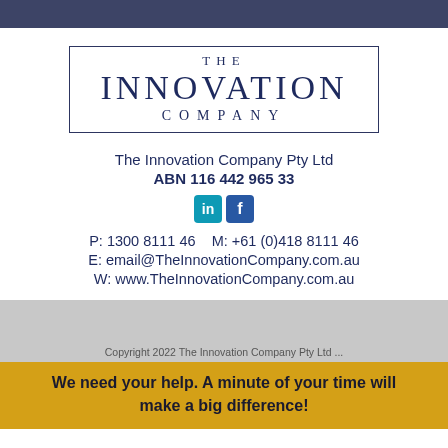[Figure (logo): The Innovation Company logo with bordered box containing THE, INNOVATION, COMPANY text in dark navy serif font]
The Innovation Company Pty Ltd
ABN 116 442 965 33
[Figure (illustration): LinkedIn and Facebook social media icons]
P: 1300 8111 46    M: +61 (0)418 8111 46
E: email@TheInnovationCompany.com.au
W: www.TheInnovationCompany.com.au
Copyright 2022 The Innovation Company Pty Ltd ...
We need your help. A minute of your time will make a big difference!